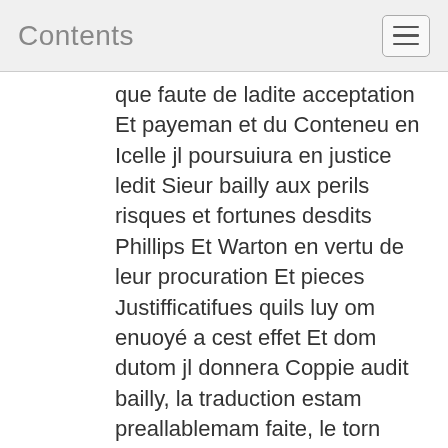Contents
que faute de ladite acceptation Et payeman et du Conteneu en Icelle jl poursuiura en justice ledit Sieur bailly aux perils risques et fortunes desdits Phillips Et Warton en vertu de leur procuration Et pieces Justifficatifues quils luy om enuoyé a cest effet Et dom dutom jl donnera Coppie audit bailly, la traduction estam preallablemam faite, le torn Soubs les protestations expresses que fait ledit Sieur Boucher par ces presentes denestre veu A prouuer les remizes faittes par lesdits